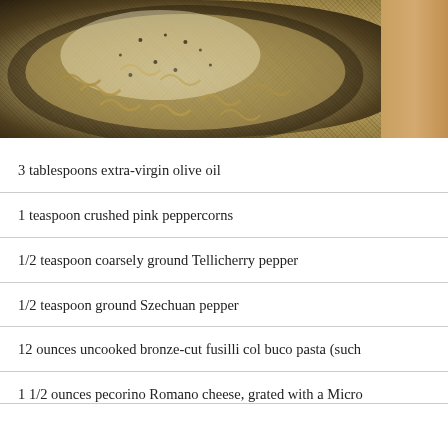[Figure (photo): Overhead view of a black pan filled with fusilli col buco pasta topped with grated cheese and black pepper, on a wooden surface]
3 tablespoons extra-virgin olive oil
1 teaspoon crushed pink peppercorns
1/2 teaspoon coarsely ground Tellicherry pepper
1/2 teaspoon ground Szechuan pepper
12 ounces uncooked bronze-cut fusilli col buco pasta (such
1 1/2 ounces pecorino Romano cheese, grated with a Micro